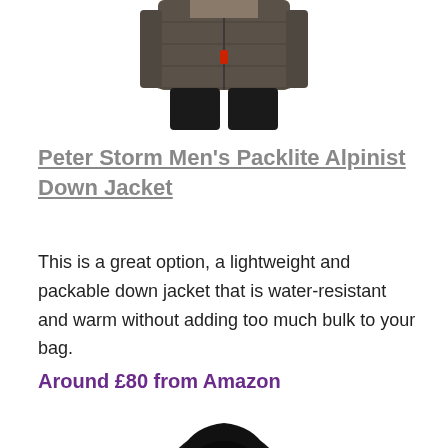[Figure (photo): Partial view of a dark down jacket/gilet worn by a person, cropped at the top of the page showing the lower half of the garment and dark trousers.]
Peter Storm Men's Packlite Alpinist Down Jacket
This is a great option, a lightweight and packable down jacket that is water-resistant and warm without adding too much bulk to your bag.
Around £80 from Amazon
[Figure (photo): A black hooded jacket/coat photographed on a plain white background, showing the hood up and front zip closure.]